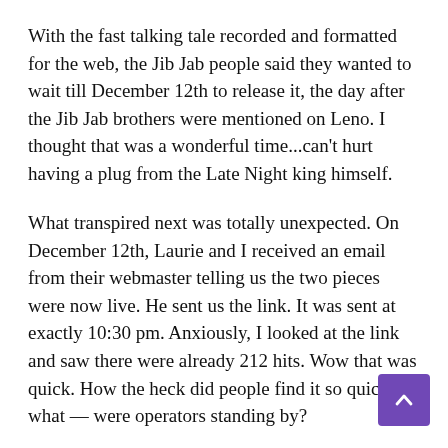With the fast talking tale recorded and formatted for the web, the Jib Jab people said they wanted to wait till December 12th to release it, the day after the Jib Jab brothers were mentioned on Leno. I thought that was a wonderful time...can't hurt having a plug from the Late Night king himself.
What transpired next was totally unexpected. On December 12th, Laurie and I received an email from their webmaster telling us the two pieces were now live. He sent us the link. It was sent at exactly 10:30 pm. Anxiously, I looked at the link and saw there were already 212 hits. Wow that was quick. How the heck did people find it so quickly, what — were operators standing by?
At midnight I decided to send an email out to my